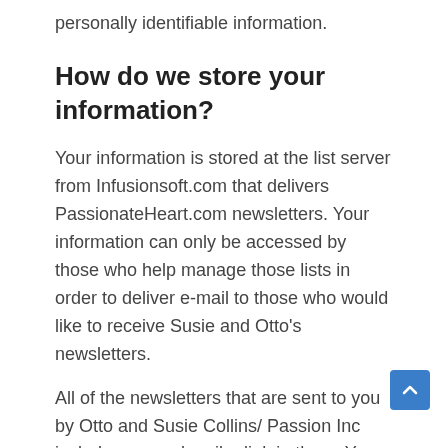personally identifiable information.
How do we store your information?
Your information is stored at the list server from Infusionsoft.com that delivers PassionateHeart.com newsletters. Your information can only be accessed by those who help manage those lists in order to deliver e-mail to those who would like to receive Susie and Otto's newsletters.
All of the newsletters that are sent to you by Otto and Susie Collins/ Passion Inc include an unsubscribe link in them. You can remove yourself at any time from our newsletters by